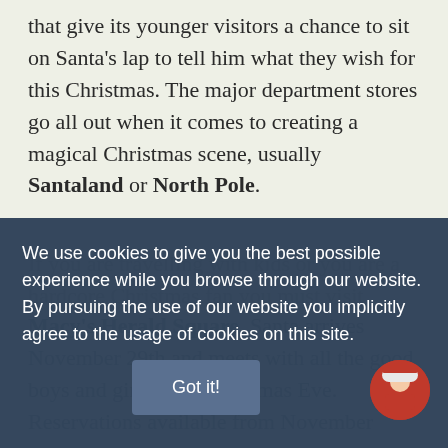that give its younger visitors a chance to sit on Santa's lap to tell him what they wish for this Christmas. The major department stores go all out when it comes to creating a magical Christmas scene, usually Santaland or North Pole.
If you are travelling with kids or you are a hardcore Christmas fan you must visit
We use cookies to give you the best possible experience while you browse through our website. By pursuing the use of our website you implicitly agree to the usage of cookies on this site.
Got it!
Macy's Herald Square. Santa arrives November 29th and meets with all the good boys and girls until Christmas Eve. Reservations available from November